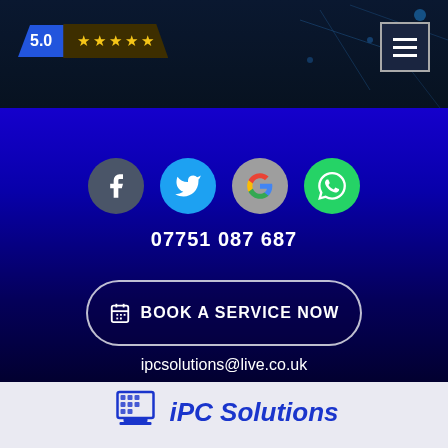5.0 ★★★★★
[Figure (screenshot): Website screenshot with header rating badge showing 5.0 stars, hamburger menu button, social media icons (Facebook, Twitter, Google, WhatsApp), phone number, book a service now button, email address, and iPC Solutions logo]
07751 087 687
BOOK A SERVICE NOW
ipcsolutions@live.co.uk
iPC Solutions